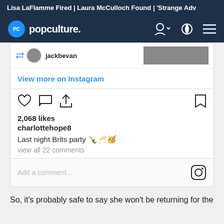Lisa LaFlamme Fired | Laura McCulloch Found | 'Strange Adv
[Figure (screenshot): Popculture.com navigation bar with logo, user icon, light/dark toggle, and menu icon on dark navy background]
[Figure (screenshot): Instagram embed showing jackbevan username, 'View more on Instagram' link, action icons (heart, comment, share, bookmark), 2,068 likes, charlottehope8 caption 'Last night Brits party', view all 22 comments, and Add a comment field with Instagram icon]
So, it's probably safe to say she won't be returning for the